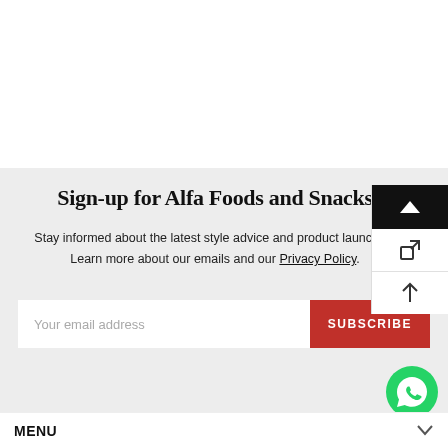Sign-up for Alfa Foods and Snacks
Stay informed about the latest style advice and product launches. Learn more about our emails and our Privacy Policy.
Your email address
SUBSCRIBE
[Figure (logo): WhatsApp icon — green circle with white phone handset]
MENU